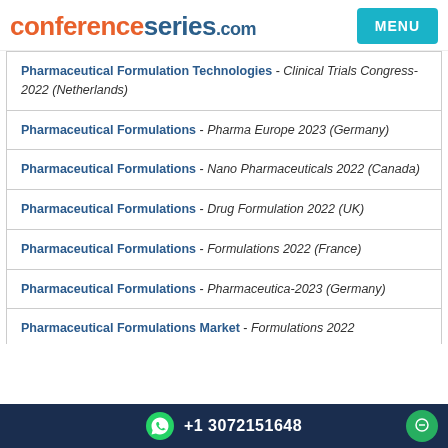conferenceseries.com  MENU
Pharmaceutical Formulation Technologies - Clinical Trials Congress-2022 (Netherlands)
Pharmaceutical Formulations - Pharma Europe 2023 (Germany)
Pharmaceutical Formulations - Nano Pharmaceuticals 2022 (Canada)
Pharmaceutical Formulations - Drug Formulation 2022 (UK)
Pharmaceutical Formulations - Formulations 2022 (France)
Pharmaceutical Formulations - Pharmaceutica-2023 (Germany)
Pharmaceutical Formulations Market - Formulations 2022
+1 3072151648